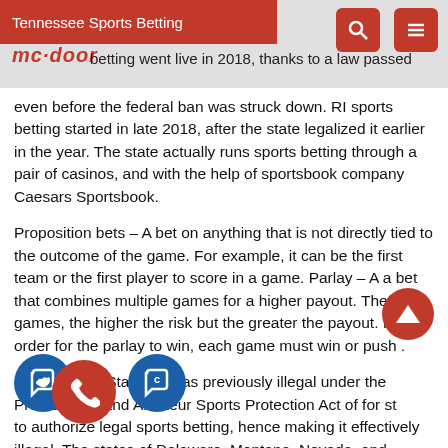Tennessee Sports Betting
even before the federal ban was struck down. RI sports betting started in late 2018, after the state legalized it earlier in the year. The state actually runs sports betting through a pair of casinos, and with the help of sportsbook company Caesars Sportsbook.
Proposition bets – A bet on anything that is not directly tied to the outcome of the game. For example, it can be the first team or the first player to score in a game. Parlay – A a bet that combines multiple games for a higher payout. The more games, the higher the risk but the greater the payout. In order for the parlay to win, each game must win or push .
In the United States, it was previously illegal under the Professional and Amateur Sports Protection Act of for states to authorize legal sports betting, hence making it effectively illegal. The states of Delaware, Montana, Nevada, and Oregon—which had pre-existing sports lotteries and sports betting frameworks are grandfathered in and exempted from the e... of ... National Football League was previously fully against any sort of legalization of sports